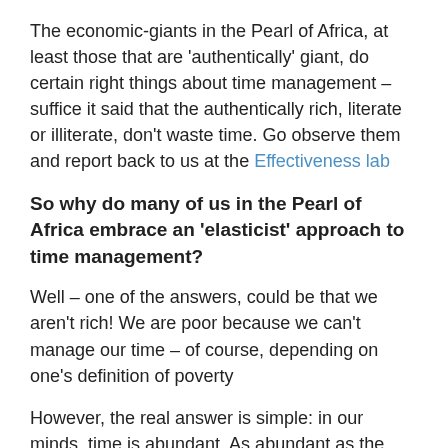The economic-giants in the Pearl of Africa, at least those that are 'authentically' giant, do certain right things about time management – suffice it said that the authentically rich, literate or illiterate, don't waste time. Go observe them and report back to us at the Effectiveness lab
So why do many of us in the Pearl of Africa embrace an 'elasticist' approach to time management?
Well – one of the answers, could be that we aren't rich! We are poor because we can't manage our time – of course, depending on one's definition of poverty
However, the real answer is simple: in our minds, time is abundant. As abundant as the oxygen we breath
Unlike money, that is a privilege for the very few, we all in the Pearl of Africa wake up with equal access to all the